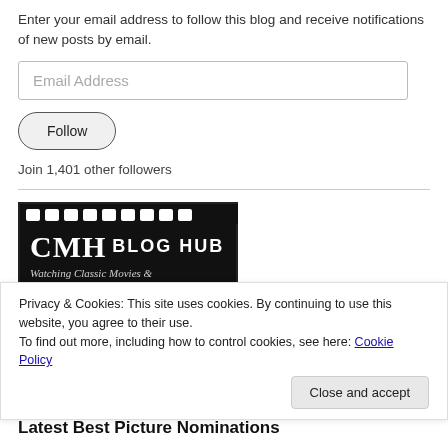Enter your email address to follow this blog and receive notifications of new posts by email.
[Figure (other): Email address input field with placeholder text 'Email Address']
[Figure (other): Follow button with rounded border]
Join 1,401 other followers
[Figure (logo): CMH Blog Hub logo - black background with film strip, bold CMH letters and BLOG HUB text, tagline 'Watching Classic Movies &']
Privacy & Cookies: This site uses cookies. By continuing to use this website, you agree to their use.
To find out more, including how to control cookies, see here: Cookie Policy
[Figure (other): Close and accept button]
Latest Best Picture Nominations